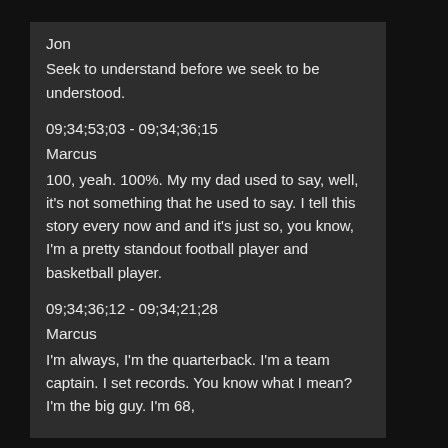Jon
Seek to understand before we seek to be understood.
09;34;53;03 - 09;34;36;15
Marcus
100, yeah. 100%. My my dad used to say, well, it's not something that he used to say. I tell this story every now and and it's just so, you know, I'm a pretty standout football player and basketball player.
09;34;36;12 - 09;34;21;28
Marcus
I'm always, I'm the quarterback. I'm a team captain. I set records. You know what I mean? I'm the big guy. I'm 68,